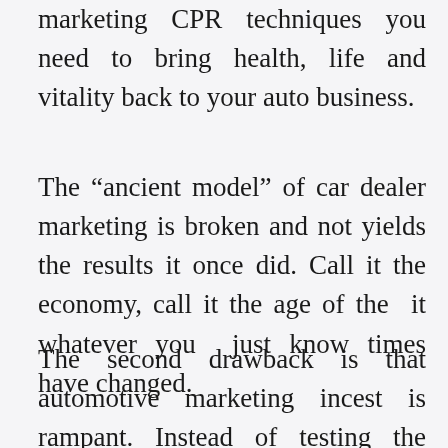marketing CPR techniques you need to bring health, life and vitality back to your auto business.
The “ancient model” of car dealer marketing is broken and not yields the results it once did. Call it the economy, call it the age of the it whatever you just know times have changed.
The second drawback is that automotive marketing incest is rampant. Instead of testing the effectiveness of various selling